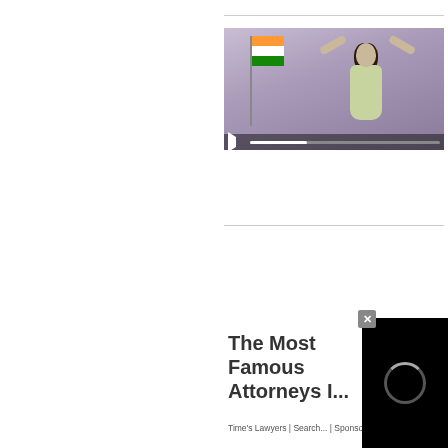[Figure (screenshot): Video thumbnail showing a woman in a saree with arms raised in front of an Indian flag, with video progress bar controls at bottom]
[Figure (screenshot): Ad overlay showing 'The Most Famous Attorneys I...' text with 'Time's Lawyers | Search ... | Sponsored' below, and a black video loading overlay with circular spinner in bottom right corner, and a close button X]